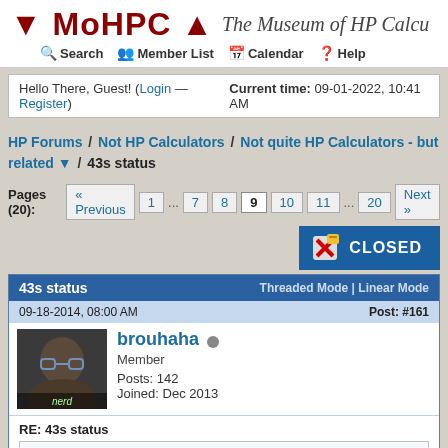MoHPC ↓ ↑ — The Museum of HP Calcu…
Search  Member List  Calendar  Help
Hello There, Guest! (Login — Register)  Current time: 09-01-2022, 10:41 AM
HP Forums / Not HP Calculators / Not quite HP Calculators - but related ▼ / 43s status
Pages (20): « Previous  1  ...  7  8  9  10  11  ...  20  Next »
[Figure (screenshot): CLOSED button with red X icon on dark blue background]
| 43s status | Threaded Mode | Linear Mode |
| --- | --- |
| 09-18-2014, 08:00 AM | Post: #161 |
| brouhaha (offline) Member | Posts: 142
Joined: Dec 2013 |
RE: 43s status
x34 Wrote: ➡ (09-11-2014 07:29 AM)
Thomas Radtke Wrote: ➡ (09-11-2014 06:15 AM)